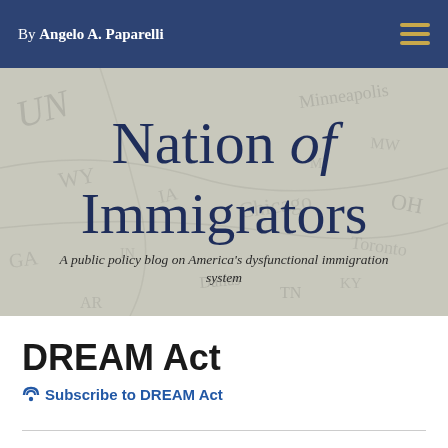By Angelo A. Paparelli
[Figure (illustration): Blog banner with map background. Title reads 'Nation of Immigrators' in large serif dark navy text. Subtitle: 'A public policy blog on America's dysfunctional immigration system' in italic text.]
DREAM Act
Subscribe to DREAM Act